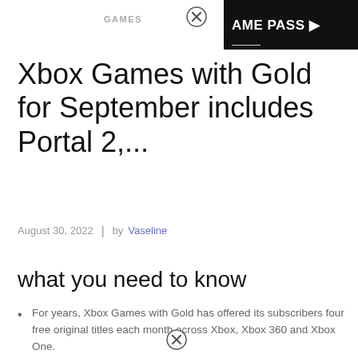GAMES
Xbox Games with Gold for September includes Portal 2,...
August 30, 2022 | by Vaseline
what you need to know
For years, Xbox Games with Gold has offered its subscribers four free original titles each month across Xbox, Xbox 360 and Xbox One.
The September 2022 lineup has been announced and will be the final month to feature Xbox 360 games.